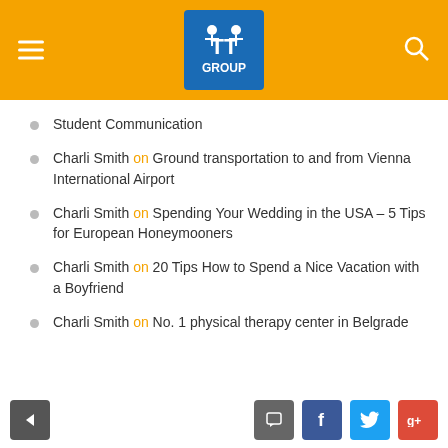[Figure (logo): TT Group logo on orange header bar with hamburger menu and search icon]
Charli Smith on Student Communication
Charli Smith on Ground transportation to and from Vienna International Airport
Charli Smith on Spending Your Wedding in the USA – 5 Tips for European Honeymooners
Charli Smith on 20 Tips How to Spend a Nice Vacation with a Boyfriend
Charli Smith on No. 1 physical therapy center in Belgrade
[Figure (screenshot): Footer bar with back arrow button, comment button, Facebook, Twitter, and Google+ share buttons]